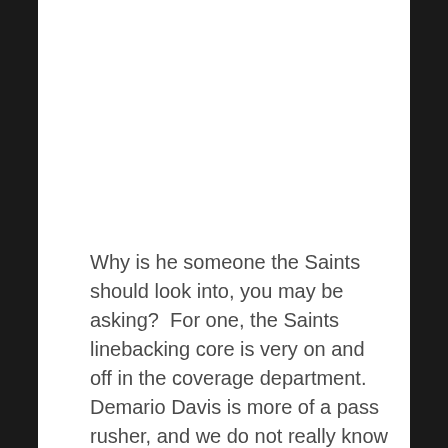Why is he someone the Saints should look into, you may be asking?  For one, the Saints linebacking core is very on and off in the coverage department. Demario Davis is more of a pass rusher, and we do not really know what will become of Kwon